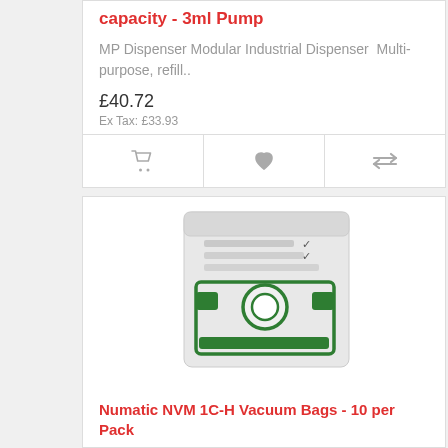capacity - 3ml Pump
MP Dispenser Modular Industrial Dispenser  Multi-purpose, refill..
£40.72
Ex Tax: £33.93
[Figure (photo): Product action buttons row with cart, heart/wishlist, and compare icons]
[Figure (photo): Photo of Numatic NVM 1C-H vacuum cleaner bags, showing a white paper bag packaging with green graphic design]
Numatic NVM 1C-H Vacuum Bags - 10 per Pack